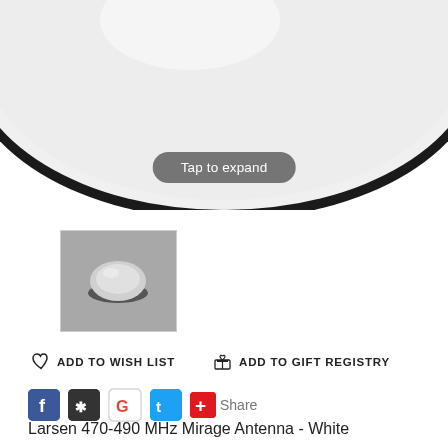[Figure (photo): Top-down view of a white circular Larsen Mirage antenna showing its white dome shape with black edge ring against white background]
Tap to expand
[Figure (photo): Thumbnail image of Larsen Mirage antenna from a side angle, showing small white/grey dome shape on dark background]
ADD TO WISH LIST
ADD TO GIFT REGISTRY
Share
Larsen 470-490 MHz Mirage Antenna - White